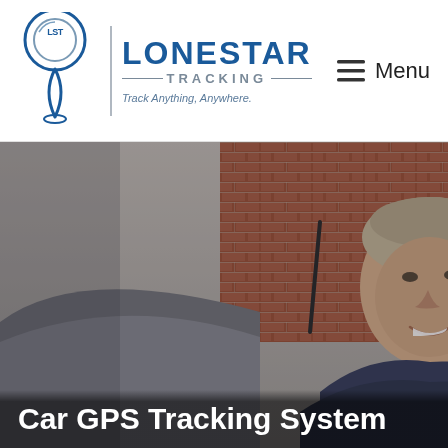[Figure (logo): Lonestar Tracking logo with GPS pin icon, company name, and tagline 'Track Anything, Anywhere.']
≡ Menu
[Figure (photo): Middle-aged man smiling, standing near a car with a brick wall in the background, overlaid with semi-transparent dark tint]
Car GPS Tracking System